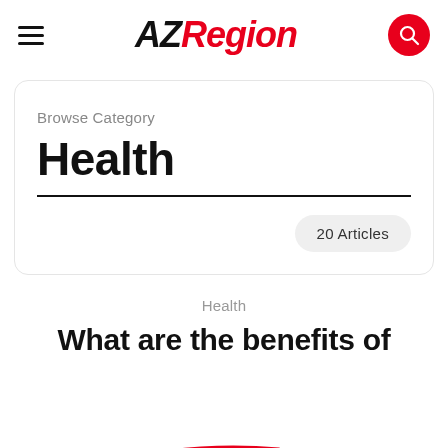AZRegion
Browse Category
Health
20 Articles
Health
What are the benefits of